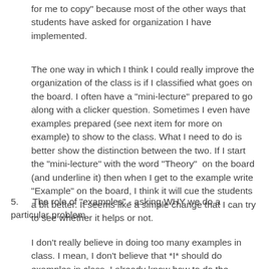for me to copy" because most of the other ways that students have asked for organization I have implemented.
The one way in which I think I could really improve the organization of the class is if I classified what goes on the board. I often have a "mini-lecture" prepared to go along with a clicker question. Sometimes I even have examples prepared (see next item for more on example) to show to the class. What I need to do is better show the distinction between the two. If I start the "mini-lecture" with the word "Theory"  on the board (and underline it) then when I get to the example write "Example" on the board, I think it will cue the students a bit better. It seems like a simple change that I can try to see whether it helps or not.
5. The role of "examples" - asking WHY we do a particular problem
I don't really believe in doing too many examples in class. I mean, I don't believe that *I* should do examples in class. I already know how to do the